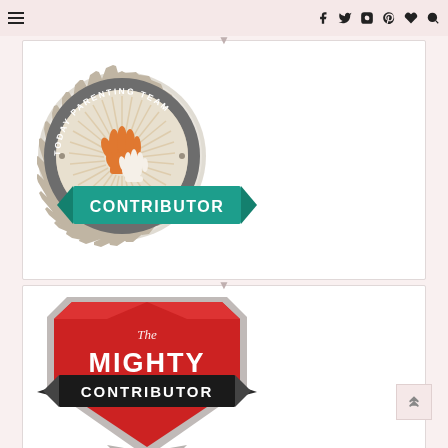Navigation bar with hamburger menu and social icons
[Figure (logo): Today Parenting Team Contributor badge - circular grey seal with orange hand logo and teal ribbon banner reading CONTRIBUTOR]
[Figure (logo): The Mighty Contributor badge - shield shaped logo in red and grey with black banner reading CONTRIBUTOR]